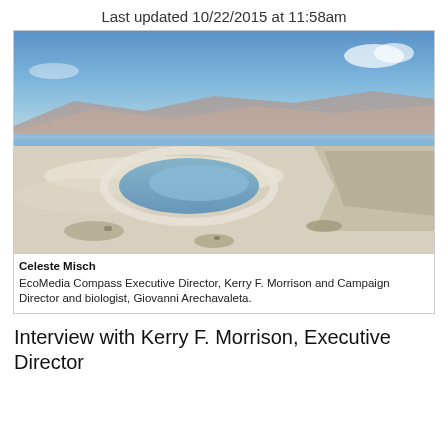Last updated 10/22/2015 at 11:58am
[Figure (photo): A photograph of a dry, salt-crusted lakebed or shoreline with a small remaining pool of water in the center. Mountains and blue sky visible in the background. The foreground shows white mineral deposits and rocky terrain.]
Celeste Misch
EcoMedia Compass Executive Director, Kerry F. Morrison and Campaign Director and biologist, Giovanni Arechavaleta.
Interview with Kerry F. Morrison, Executive Director